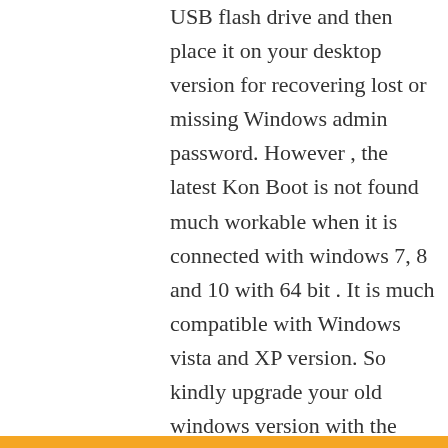USB flash drive and then place it on your desktop version for recovering lost or missing Windows admin password. However , the latest Kon Boot is not found much workable when it is connected with windows 7, 8 and 10 with 64 bit . It is much compatible with Windows vista and XP version. So kindly upgrade your old windows version with the purpose of having the fast password restoration guide from freeway KonBoot. The system admin will be reset and the content security is also good. V1.0 version of Konboot is easy to download. Check the reviews to know how to activate Konboot software to make the password retrieving process